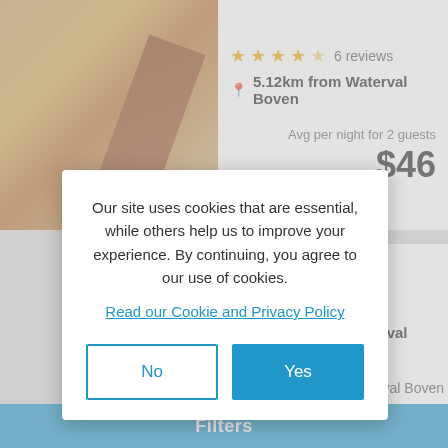[Figure (photo): Blurry photo of a room interior with warm brown/orange tones]
★★★★☆ 6 reviews
5.12km from Waterval Boven
Avg per night for 2 guests
$46
Wayside Lodge
Waterval Onder Lodge
Sleeps 27 in 9 rooms
6.14km from Waterval Boven
Our site uses cookies that are essential, while others help us to improve your experience. By continuing, you agree to our use of cookies.
Read our Cookie and Privacy Policy
No
Yes
Filters
val Boven
Avg per night for 2 guests